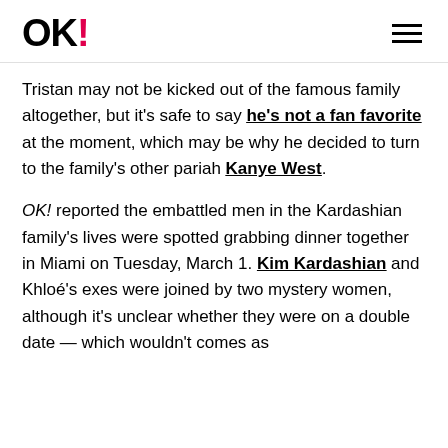OK!
Tristan may not be kicked out of the famous family altogether, but it's safe to say he's not a fan favorite at the moment, which may be why he decided to turn to the family's other pariah Kanye West.
OK! reported the embattled men in the Kardashian family's lives were spotted grabbing dinner together in Miami on Tuesday, March 1. Kim Kardashian and Khloé's exes were joined by two mystery women, although it's unclear whether they were on a double date — which wouldn't comes as